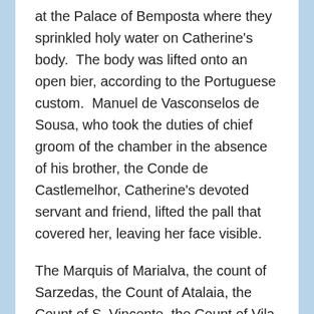at the Palace of Bemposta where they sprinkled holy water on Catherine's body.  The body was lifted onto an open bier, according to the Portuguese custom.  Manuel de Vasconselos de Sousa, who took the duties of chief groom of the chamber in the absence of his brother, the Conde de Castlemelhor, Catherine's devoted servant and friend, lifted the pall that covered her, leaving her face visible.
The Marquis of Marialva, the count of Sarzedas, the Count of Atalaia, the Count of S. Vincente, the Count of Vila Verde, the Count of Alvor, the Count of Falveias and Francis de Sousa, all members of the Council of State, lifted the coffin and placed it on a litter.  The litter was taken in state to the church at Belém.  The monastery was located on the same spot where Vasco da Gama had sailed on his greatest voyage of discovery, the passage to the